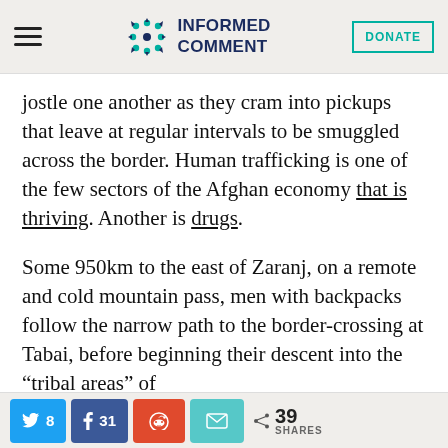Informed Comment
jostle one another as they cram into pickups that leave at regular intervals to be smuggled across the border. Human trafficking is one of the few sectors of the Afghan economy that is thriving. Another is drugs.
Some 950km to the east of Zaranj, on a remote and cold mountain pass, men with backpacks follow the narrow path to the border-crossing at Tabai, before beginning their descent into the “tribal areas” of
Twitter 8  Facebook 31  Reddit  Email  < 39 SHARES